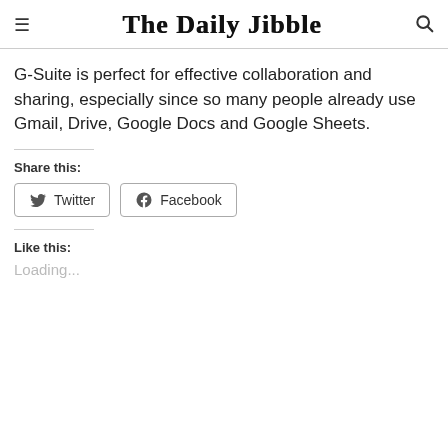≡  The Daily Jibble  🔍
G-Suite is perfect for effective collaboration and sharing, especially since so many people already use Gmail, Drive, Google Docs and Google Sheets.
Share this:
Twitter  Facebook
Like this:
Loading...